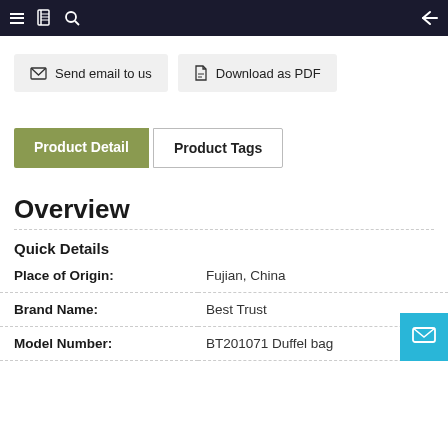Navigation bar with menu, book, search icons and back arrow
Send email to us | Download as PDF
Product Detail | Product Tags
Overview
Quick Details
| Field | Value |
| --- | --- |
| Place of Origin: | Fujian, China |
| Brand Name: | Best Trust |
| Model Number: | BT201071 Duffel bag |